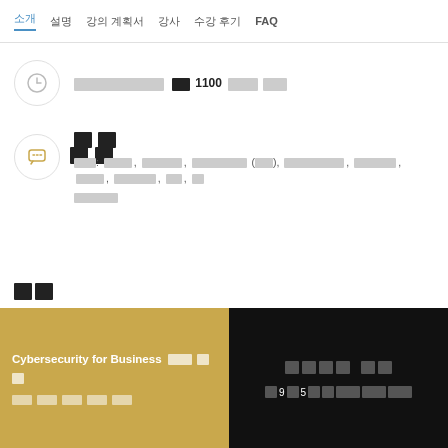소개  설명  강의 계획서  강사  수강 후기  FAQ
강의콘텐츠 및 이 1100 시간 강의
토론
포함: 동료피드백, 반영형저널, 개인활동토론 (검토), 개인활동토론피드백, 동료피드백검토, 반영형저널, 개인활동토론, 검토, 개인활동피드백
평가
Cybersecurity for Business 에서 더 많이 콜로라도 대학교 볼더
무료로 등록 월 9달 5천달러 전체 수료증 비용